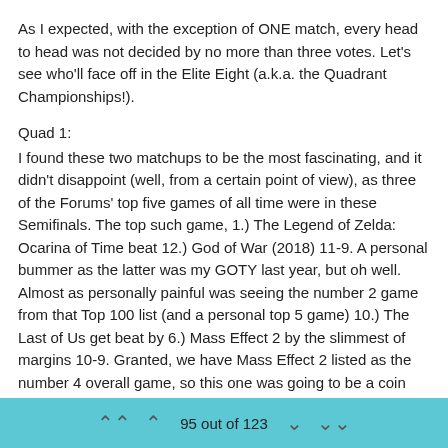As I expected, with the exception of ONE match, every head to head was not decided by no more than three votes. Let's see who'll face off in the Elite Eight (a.k.a. the Quadrant Championships!).
Quad 1:
I found these two matchups to be the most fascinating, and it didn't disappoint (well, from a certain point of view), as three of the Forums' top five games of all time were in these Semifinals. The top such game, 1.) The Legend of Zelda: Ocarina of Time beat 12.) God of War (2018) 11-9. A personal bummer as the latter was my GOTY last year, but oh well. Almost as personally painful was seeing the number 2 game from that Top 100 list (and a personal top 5 game) 10.) The Last of Us get beat by 6.) Mass Effect 2 by the slimmest of margins 10-9. Granted, we have Mass Effect 2 listed as the number 4 overall game, so this one was going to be a coin flip, regardless of winner.
Quad 4:
When a three vote difference is the "comfortable" victory, the 9-6 win 1.) SoulCalibur took against 4.) Grand Theft Auto III seems like nothing. Personally, I'm actually surprised SoulCalibur has lasted this long, because I don't hear much talk about it. In the other match, 2.) Super
95 out of 123